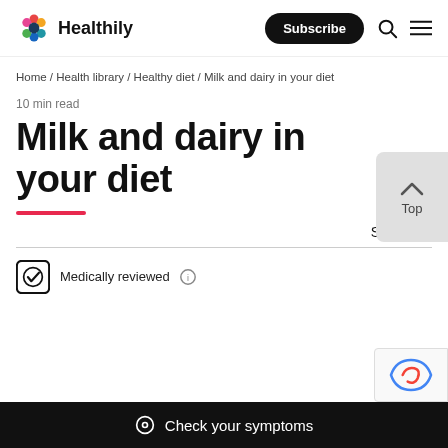Healthily — Subscribe | Search | Menu
Home / Health library / Healthy diet / Milk and dairy in your diet
10 min read
Milk and dairy in your diet
Share
Medically reviewed
Check your symptoms